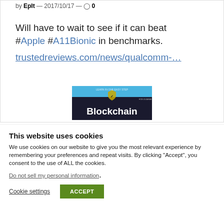by EpIt — 2017/10/17 — 0
Will have to wait to see if it can beat #Apple #A11Bionic in benchmarks. trustedreviews.com/news/qualcomm-…
[Figure (screenshot): Blockchain book cover banner image with blue and dark background]
This website uses cookies
We use cookies on our website to give you the most relevant experience by remembering your preferences and repeat visits. By clicking "Accept", you consent to the use of ALL the cookies.
Do not sell my personal information.
Cookie settings   ACCEPT